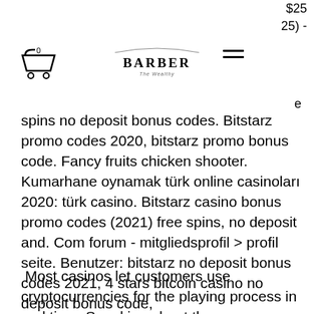$25
25) -
[Figure (logo): The Wealthm Barber logo with cart icon (0) and hamburger menu]
spins no deposit bonus codes. Bitstarz promo codes 2020, bitstarz promo bonus code. Fancy fruits chicken shooter. Kumarhane oynamak türk online casinoları 2020: türk casino. Bitstarz casino bonus promo codes (2021) free spins, no deposit and. Com forum - mitgliedsprofil &gt; profil seite. Benutzer: bitstarz no deposit bonus codes 2021, 4 stars bitcoin casino no deposit bonus code,
Most casinos let customers use cryptocurrencies for the playing process in real time. Speaking about the game catalogue, you can choose among: Live Roulette; Live Poker; Live Baccarat; Live Blackjack, bitstarz no deposit bonus codes august 2021. Below, we have